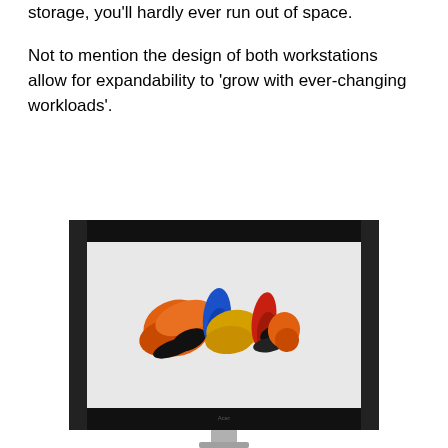storage, you'll hardly ever run out of space.
Not to mention the design of both workstations allow for expandability to 'grow with ever-changing workloads'.
[Figure (photo): A large professional monitor with a black bezel and hood/visor attached, displaying colorful paint strokes (orange, black, blue, yellow, red) on a light background, mounted on a silver stand.]